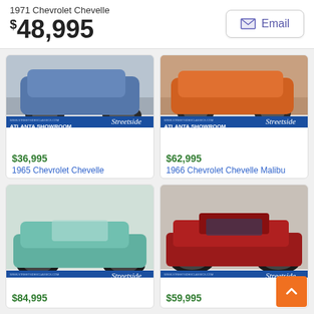1971 Chevrolet Chevelle
$48,995
[Figure (screenshot): Email button with envelope icon]
[Figure (photo): Classic car photo - top portion cropped, showing Atlanta Showroom banner. Price $36,995, 1965 Chevrolet Chevelle]
$36,995
1965 Chevrolet Chevelle
[Figure (photo): Classic car photo - top portion cropped, showing Atlanta Showroom banner. Price $62,995, 1966 Chevrolet Chevelle Malibu]
$62,995
1966 Chevrolet Chevelle Malibu
[Figure (photo): Teal/turquoise 1966 Chevrolet Chevelle convertible at Atlanta Showroom. Price $84,995]
$84,995
[Figure (photo): Red muscle car at Atlanta Showroom. Price $59,995]
$59,995